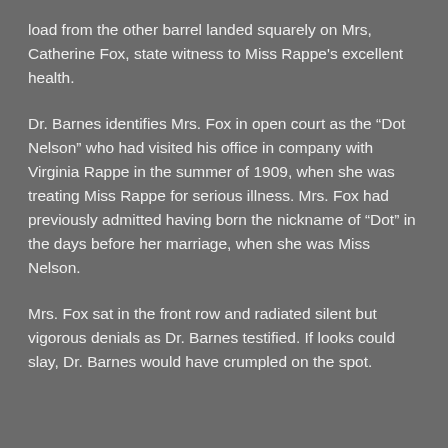load from the other barrel landed squarely on Mrs, Catherine Fox, state witness to Miss Rappe’s excellent health.
Dr. Barnes identifies Mrs. Fox in open court as the “Dot Nelson” who had visited his office in company with Virginia Rappe in the summer of 1909, when she was treating Miss Rappe for serious illness. Mrs. Fox had previously admitted having born the nickname of “Dot” in the days before her marriage, when she was Miss Nelson.
Mrs. Fox sat in the front row and radiated silent but vigorous denials as Dr. Barnes testified. If looks could slay, Dr. Barnes would have crumpled on the spot.